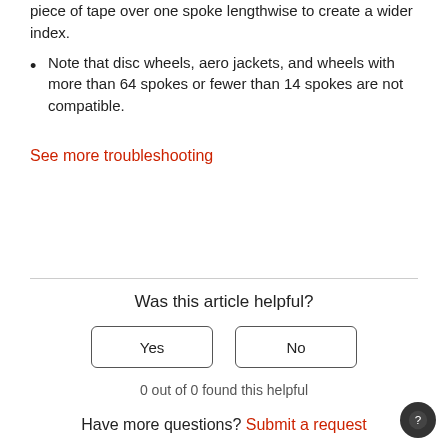piece of tape over one spoke lengthwise to create a wider index.
Note that disc wheels, aero jackets, and wheels with more than 64 spokes or fewer than 14 spokes are not compatible.
See more troubleshooting
Was this article helpful?
Yes
No
0 out of 0 found this helpful
Have more questions? Submit a request